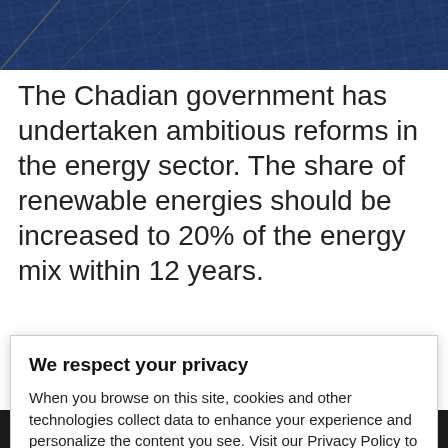[Figure (photo): Close-up photograph of solar panels, dark blue with geometric grid pattern]
The Chadian government has undertaken ambitious reforms in the energy sector. The share of renewable energies should be increased to 20% of the energy mix within 12 years.
We respect your privacy
When you browse on this site, cookies and other technologies collect data to enhance your experience and personalize the content you see. Visit our Privacy Policy to learn more. By clicking "Accept", you agree to this use of cookies and data.
Accept
incentive reforms to develop Chad's great